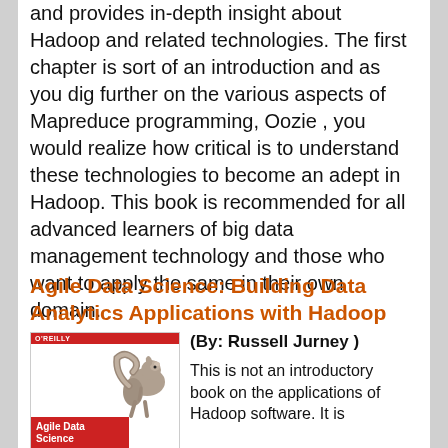and provides in-depth insight about Hadoop and related technologies. The first chapter is sort of an introduction and as you dig further on the various aspects of Mapreduce programming, Oozie , you would realize how critical is to understand these technologies to become an adept in Hadoop. This book is recommended for all advanced learners of big data management technology and those who want to apply the same in their own domain.
Agile Data Science: Building Data Analytics Applications with Hadoop
[Figure (illustration): Book cover for Agile Data Science: Building Data Analytics Applications with Hadoop, O'Reilly publisher, featuring a squirrel illustration and red cover with white title text.]
(By: Russell Jurney )
This is not an introductory book on the applications of Hadoop software. It is